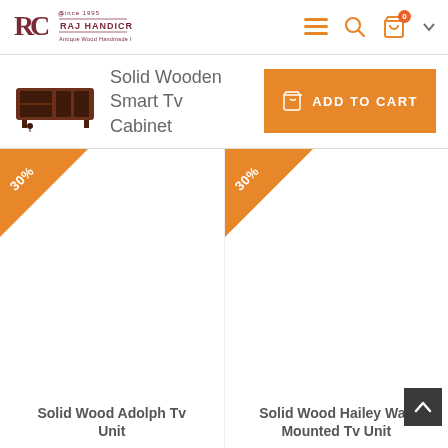Raj Handicraft - Since 1995
Solid Wooden Smart Tv Cabinet
ADD TO CART
[Figure (illustration): Solid Wood Adolph Tv Unit product card with 30% discount badge]
[Figure (illustration): Solid Wood Hailey Wall Mounted Tv Unit product card with 30% discount badge]
Solid Wood Adolph Tv Unit
Solid Wood Hailey Wall Mounted Tv Unit